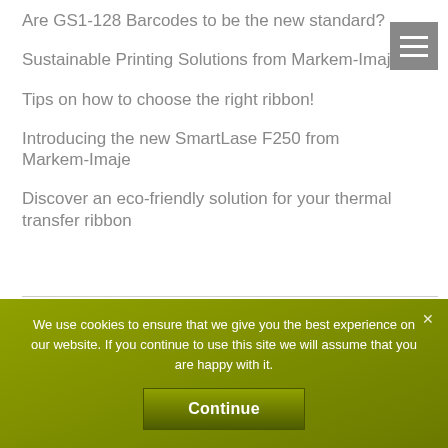Are GS1-128 Barcodes to be the new standard?
Sustainable Printing Solutions from Markem-Imaje
Tips on how to choose the right ribbon!
Introducing the new SmartLase F250 from Markem-Imaje
Discover an eco-friendly solution for your thermal transfer ribbon
Recent Comments
We use cookies to ensure that we give you the best experience on our website. If you continue to use this site we will assume that you are happy with it.